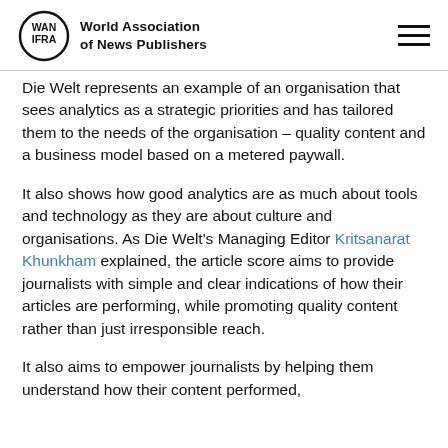World Association of News Publishers
Die Welt represents an example of an organisation that sees analytics as a strategic priorities and has tailored them to the needs of the organisation – quality content and a business model based on a metered paywall.
It also shows how good analytics are as much about tools and technology as they are about culture and organisations. As Die Welt's Managing Editor Kritsanarat Khunkham explained, the article score aims to provide journalists with simple and clear indications of how their articles are performing, while promoting quality content rather than just irresponsible reach.
It also aims to empower journalists by helping them understand how their content performed,